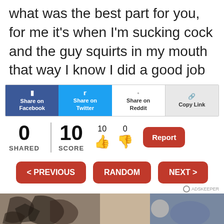what was the best part for you, for me it’s when I’m sucking cock and the guy squirts in my mouth that way I know I did a good job
[Figure (screenshot): Social sharing bar with Facebook, Twitter, Reddit, and Copy Link buttons]
0 SHARED | 10 SCORE | 10 (thumbs up) | 0 (thumbs down) | Report
< PREVIOUS   RANDOM   NEXT >
[Figure (photo): Bottom cropped image showing tattooed hands/skin]